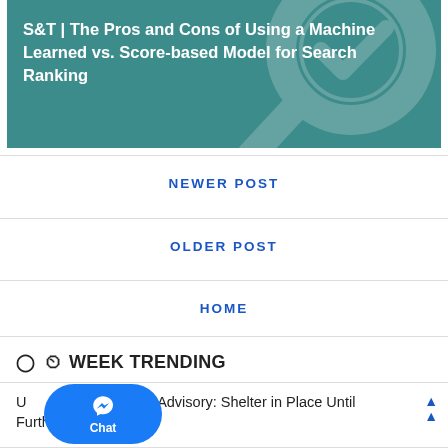[Figure (illustration): Teal/dark cyan banner image with a large magnifying glass icon overlay and bold white text reading 'S&T | The Pros and Cons of Using a Machine Learned vs. Score-based Model for Search Ranking']
NEWER POST
OLDER POST
HOME
WEEK TRENDING
Update Tijuana Advisory: Shelter in Place Until Further Notice